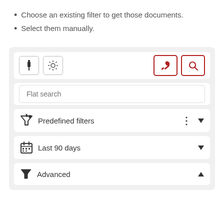Choose an existing filter to get those documents.
Select them manually.
[Figure (screenshot): UI panel with toolbar buttons (pin, gear, paint brush, magnifier), a flat search input, a Predefined filters dropdown, a Last 90 days date filter dropdown, and an Advanced filter section.]